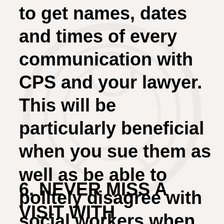to get names, dates and times of every communication with CPS and your lawyer. This will be particularly beneficial when you sue them as well as be able to politely disagree with social workers when they tell you something different that they told you previously.
6. NEVER MISS A VISIT WITH